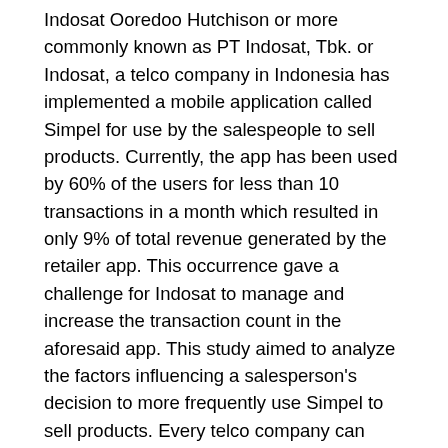Indosat Ooredoo Hutchison or more commonly known as PT Indosat, Tbk. or Indosat, a telco company in Indonesia has implemented a mobile application called Simpel for use by the salespeople to sell products. Currently, the app has been used by 60% of the users for less than 10 transactions in a month which resulted in only 9% of total revenue generated by the retailer app. This occurrence gave a challenge for Indosat to manage and increase the transaction count in the aforesaid app. This study aimed to analyze the factors influencing a salesperson's decision to more frequently use Simpel to sell products. Every telco company can learn from this research to enhance app features better. The analysis is based on human behavior in information systems environment. The combination of UTAUT and other variables was used in this study. The total sample was obtained from 467 respondents who registered and used the app. Analysis were conducted using the structural equation models to learn the impact that performance expectancies, effort expectancies, social